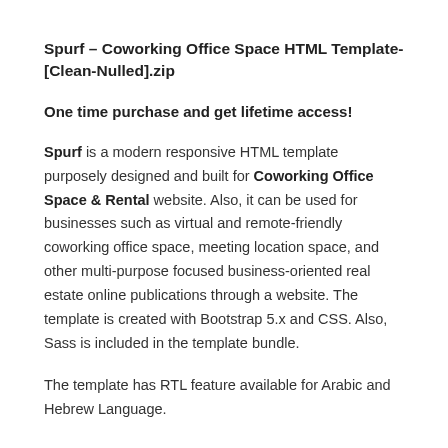Spurf – Coworking Office Space HTML Template-[Clean-Nulled].zip
One time purchase and get lifetime access!
Spurf is a modern responsive HTML template purposely designed and built for Coworking Office Space & Rental website. Also, it can be used for businesses such as virtual and remote-friendly coworking office space, meeting location space, and other multi-purpose focused business-oriented real estate online publications through a website. The template is created with Bootstrap 5.x and CSS. Also, Sass is included in the template bundle.
The template has RTL feature available for Arabic and Hebrew Language.